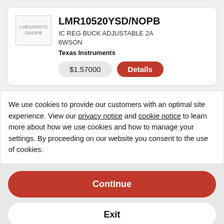[Figure (photo): Product image placeholder showing text 'LMR10520YSD/NOPB']
LMR10520YSD/NOPB
IC REG BUCK ADJUSTABLE 2A 6WSON
Texas Instruments
$1.57000
Details
We use cookies to provide our customers with an optimal site experience. View our privacy notice and cookie notice to learn more about how we use cookies and how to manage your settings. By proceeding on our website you consent to the use of cookies.
Continue
Exit
Privacy Notice